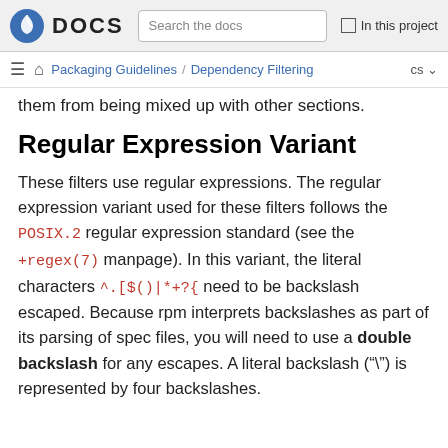Fedora DOCS | Search the docs | In this project
Packaging Guidelines / Dependency Filtering   cs
them from being mixed up with other sections.
Regular Expression Variant
These filters use regular expressions. The regular expression variant used for these filters follows the POSIX.2 regular expression standard (see the +regex(7) manpage). In this variant, the literal characters ^.[$()|*+?{ need to be backslash escaped. Because rpm interprets backslashes as part of its parsing of spec files, you will need to use a double backslash for any escapes. A literal backslash ("\") is represented by four backslashes.